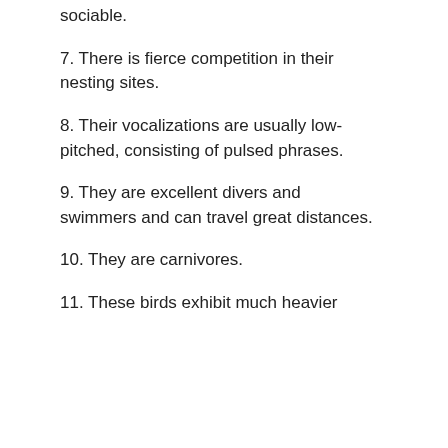sociable.
7. There is fierce competition in their nesting sites.
8. Their vocalizations are usually low-pitched, consisting of pulsed phrases.
9. They are excellent divers and swimmers and can travel great distances.
10. They are carnivores.
11. These birds exhibit much heavier